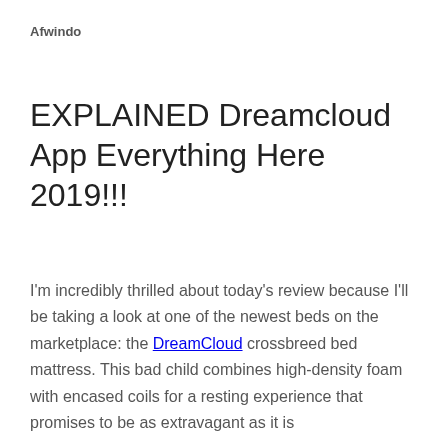Afwindo
EXPLAINED Dreamcloud App Everything Here 2019!!!
I'm incredibly thrilled about today's review because I'll be taking a look at one of the newest beds on the marketplace: the DreamCloud crossbreed bed mattress. This bad child combines high-density foam with encased coils for a resting experience that promises to be as extravagant as it is